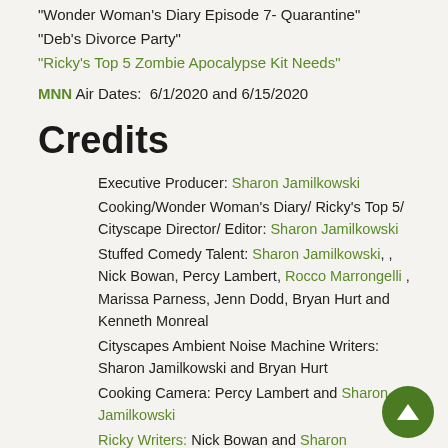"Wonder Woman's Diary Episode 7- Quarantine"
"Deb's Divorce Party"
"Ricky's Top 5 Zombie Apocalypse Kit Needs"
MNN Air Dates:  6/1/2020 and 6/15/2020
Credits
Executive Producer: Sharon Jamilkowski
Cooking/Wonder Woman's Diary/ Ricky's Top 5/ Cityscape Director/ Editor: Sharon Jamilkowski
Stuffed Comedy Talent: Sharon Jamilkowski, , Nick Bowan, Percy Lambert, Rocco Marrongelli , Marissa Parness, Jenn Dodd, Bryan Hurt and Kenneth Monreal
Cityscapes Ambient Noise Machine Writers: Sharon Jamilkowski and Bryan Hurt
Cooking Camera: Percy Lambert and Sharon Jamilkowski
Ricky Writers: Nick Bowan and Sharon Jamilkowski